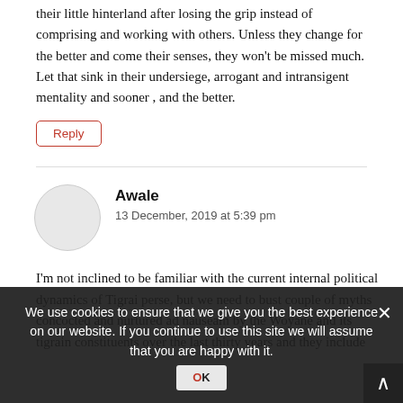their little hinterland after losing the grip instead of comprising and working with others. Unless they change for the better and come their senses, they won't be missed much. Let that sink in their undersiege, arrogant and intransigent mentality and sooner , and the better.
Reply
Awale
13 December, 2019 at 5:39 pm
I'm not inclined to be familiar with the current internal political dynamics of Tigrai perse, but we need to bust couple of myths concocted and nurtured ad nauseam by the Woyane and its tigrain constituents over the last thirty years and they include
We use cookies to ensure that we give you the best experience on our website. If you continue to use this site we will assume that you are happy with it.
one else; that they weren't responsible for any high crimes, power abuse, corruption in Ethopia and the Horn region; that they were federalist and democratic ideal vanguard in Ethiopia ; that the